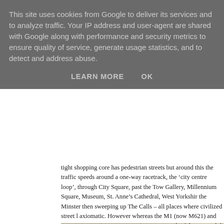This site uses cookies from Google to deliver its services and to analyze traffic. Your IP address and user-agent are shared with Google along with performance and security metrics to ensure quality of service, generate usage statistics, and to detect and address abuse.
LEARN MORE    OK
tight shopping core has pedestrian streets but around this the traffic speeds around a one-way racetrack, the ‘city centre loop’, through City Square, past the Town Hall, Art Gallery, Millennium Square, Museum, St. Anne’s Cathedral, West Yorkshire Playhouse, the Minster then sweeping up The Calls – all places where civilized street life should be axiomatic. However whereas the M1 (now M621) and its spawn are a complete mess, the inner ring motorway north of the centre did allow for the largely effective closure of the central core and was intelligently sunk in a cutting.
[Figure (photo): Interior of a large Victorian railway station showing the arched steel and glass roof structure with steel trusses and rafters, photographed from below looking up at an angle. Sepia/warm toned photograph.]